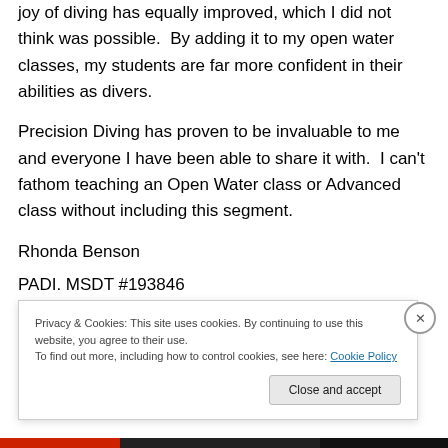joy of diving has equally improved, which I did not think was possible. By adding it to my open water classes, my students are far more confident in their abilities as divers.
Precision Diving has proven to be invaluable to me and everyone I have been able to share it with. I can't fathom teaching an Open Water class or Advanced class without including this segment.
Rhonda Benson
PADI. MSDT #193846
Privacy & Cookies: This site uses cookies. By continuing to use this website, you agree to their use.
To find out more, including how to control cookies, see here: Cookie Policy